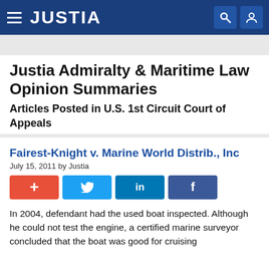JUSTIA
Justia Admiralty & Maritime Law Opinion Summaries
Articles Posted in U.S. 1st Circuit Court of Appeals
Fairest-Knight v. Marine World Distrib., Inc
July 15, 2011 by Justia
[Figure (infographic): Social share buttons: + (Google Plus, red), Twitter (blue bird), LinkedIn (in, dark blue), Facebook (f, dark blue)]
In 2004, defendant had the used boat inspected. Although he could not test the engine, a certified marine surveyor concluded that the boat was good for cruising